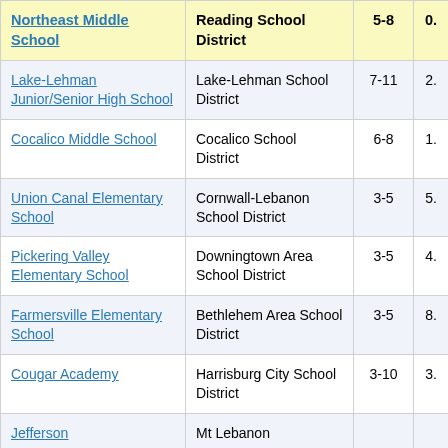| School | District | Grades | Value |
| --- | --- | --- | --- |
| Northeast Middle School | Reading School District | 5-8 | 0. |
| Lake-Lehman Junior/Senior High School | Lake-Lehman School District | 7-11 | 2. |
| Cocalico Middle School | Cocalico School District | 6-8 | 1. |
| Union Canal Elementary School | Cornwall-Lebanon School District | 3-5 | 5. |
| Pickering Valley Elementary School | Downingtown Area School District | 3-5 | 4. |
| Farmersville Elementary School | Bethlehem Area School District | 3-5 | 8. |
| Cougar Academy | Harrisburg City School District | 3-10 | 3. |
| Jefferson | Mt Lebanon | 3-5 |  |